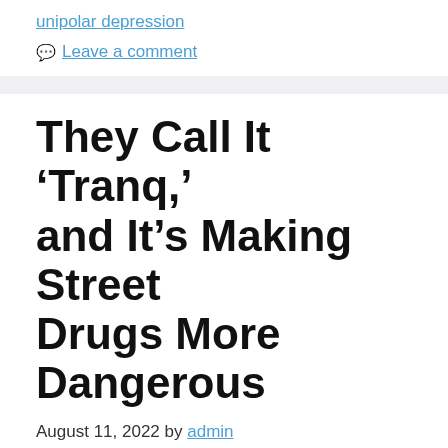unipolar depression
Leave a comment
They Call It ‘Tranq,’ and It’s Making Street Drugs More Dangerous
August 11, 2022 by admin
[Figure (photo): Photo of street drugs and drug paraphernalia on a surface]